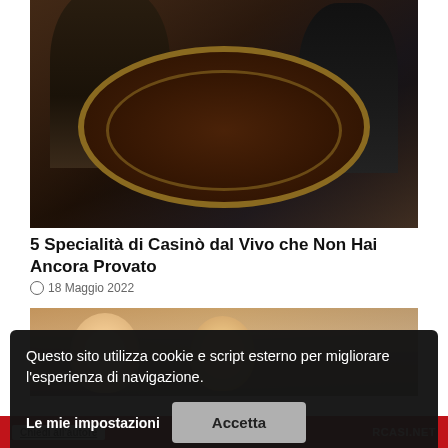[Figure (photo): Casino table game scene with two dealers/players at a round dark gaming table with gold trim in a dimly lit casino environment]
5 Specialità di Casinò dal Vivo che Non Hai Ancora Provato
18 Maggio 2022
[Figure (photo): Partial photo showing two smiling people, partially obscured by cookie consent banner]
Questo sito utilizza cookie e script esterno per migliorare l'esperienza di navigazione.
Le mie impostazioni
Accetta
RCASI.NET